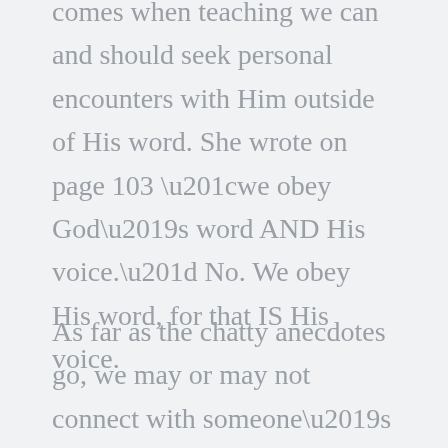comes when teaching we can and should seek personal encounters with Him outside of His word. She wrote on page 103 “we obey God’s word AND His voice.” No. We obey His word, for that IS His voice.
As far as the chatty anecdotes go, we may or may not connect with someone’s experience, but better is to have more of the word of God in a book than anecdotes. The Spirit is